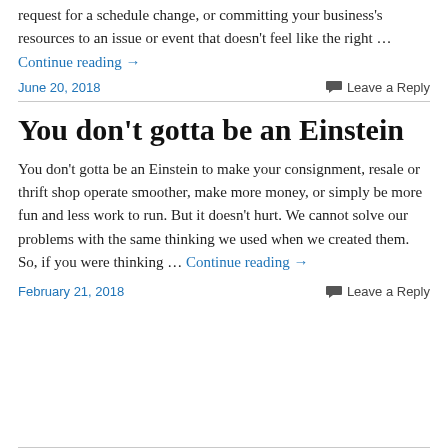request for a schedule change, or committing your business's resources to an issue or event that doesn't feel like the right … Continue reading →
June 20, 2018
Leave a Reply
You don't gotta be an Einstein
You don't gotta be an Einstein to make your consignment, resale or thrift shop operate smoother, make more money, or simply be more fun and less work to run. But it doesn't hurt. We cannot solve our problems with the same thinking we used when we created them. So, if you were thinking … Continue reading →
February 21, 2018
Leave a Reply